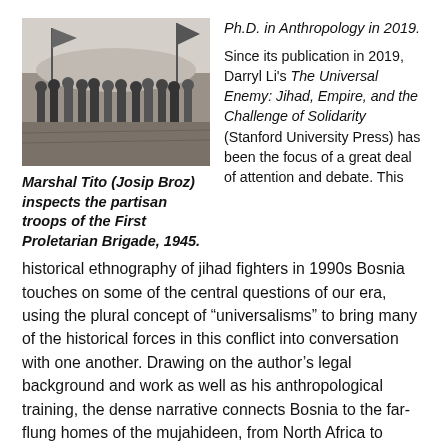[Figure (photo): Black and white historical photograph of a group of soldiers/partisan troops gathered outdoors, with flags visible in the background.]
Marshal Tito (Josip Broz) inspects the partisan troops of the First Proletarian Brigade, 1945.
Ph.D. in Anthropology in 2019.
Since its publication in 2019, Darryl Li's The Universal Enemy: Jihad, Empire, and the Challenge of Solidarity (Stanford University Press) has been the focus of a great deal of attention and debate. This historical ethnography of jihad fighters in 1990s Bosnia touches on some of the central questions of our era, using the plural concept of “universalisms” to bring many of the historical forces in this conflict into conversation with one another. Drawing on the author’s legal background and work as well as his anthropological training, the dense narrative connects Bosnia to the far-flung homes of the mujahideen, from North Africa to